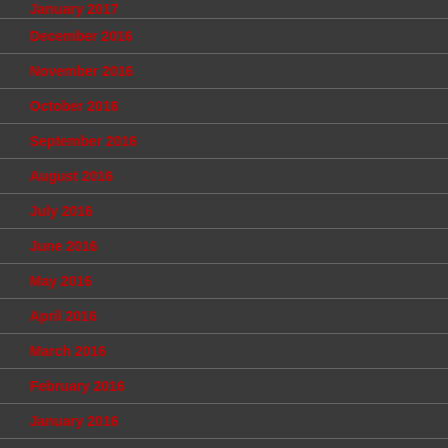January 2017 (truncated at top)
December 2016
November 2016
October 2016
September 2016
August 2016
July 2016
June 2016
May 2016
April 2016
March 2016
February 2016
January 2016
December 2015 (truncated at bottom)